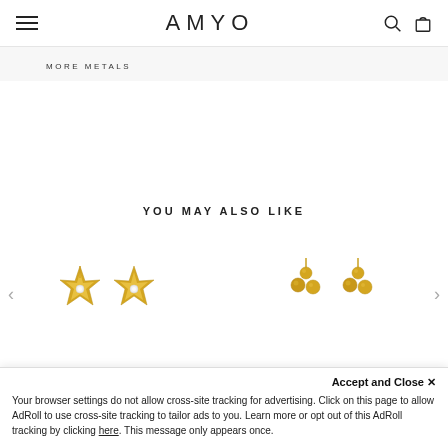AMYO
MORE METALS
YOU MAY ALSO LIKE
[Figure (photo): Two gold star-shaped stud earrings with crystal centers on white background]
[Figure (photo): Two gold ball cluster stud earrings on white background]
Accept and Close ✕
Your browser settings do not allow cross-site tracking for advertising. Click on this page to allow AdRoll to use cross-site tracking to tailor ads to you. Learn more or opt out of this AdRoll tracking by clicking here. This message only appears once.